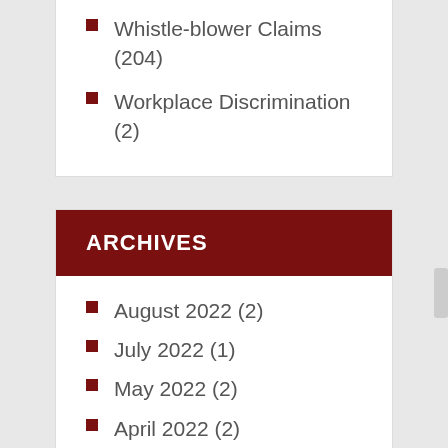Whistle-blower Claims (204)
Workplace Discrimination (2)
ARCHIVES
August 2022 (2)
July 2022 (1)
May 2022 (2)
April 2022 (2)
March 2022 (2)